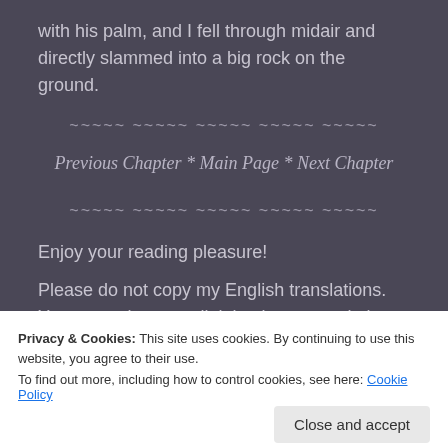with his palm, and I fell through midair and directly slammed into a big rock on the ground.
~~~~~ ~~~~~ ~~~~~ ~~~~~ ~~~~~
Previous Chapter * Main Page * Next Chapter
~~~~~ ~~~~~ ~~~~~ ~~~~~ ~~~~~
Enjoy your reading pleasure!
Please do not copy my English translations. You are welcome to link back to my website. Much appreciated
Privacy & Cookies: This site uses cookies. By continuing to use this website, you agree to their use.
To find out more, including how to control cookies, see here: Cookie Policy
Close and accept
lovers